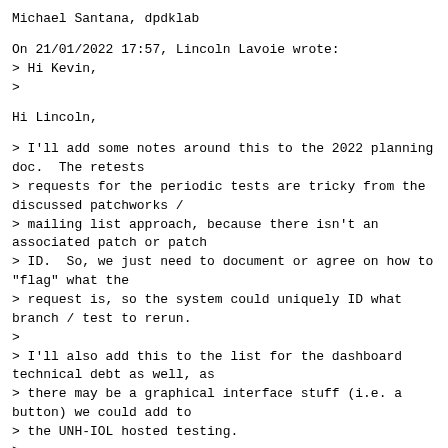Michael Santana, dpdklab
On 21/01/2022 17:57, Lincoln Lavoie wrote:
> Hi Kevin,
>
Hi Lincoln,
> I'll add some notes around this to the 2022 planning doc.  The retests
> requests for the periodic tests are tricky from the discussed patchworks /
> mailing list approach, because there isn't an associated patch or patch
> ID.  So, we just need to document or agree on how to "flag" what the
> request is, so the system could uniquely ID what branch / test to rerun.
>
> I'll also add this to the list for the dashboard technical debt as well, as
> there may be a graphical interface stuff (i.e. a button) we could add to
> the UNH-IOL hosted testing.
>
From my point of view, I don't really mind how a re-test is triggered.
I was just suggesting a "button" as a way of saying that we mightn't